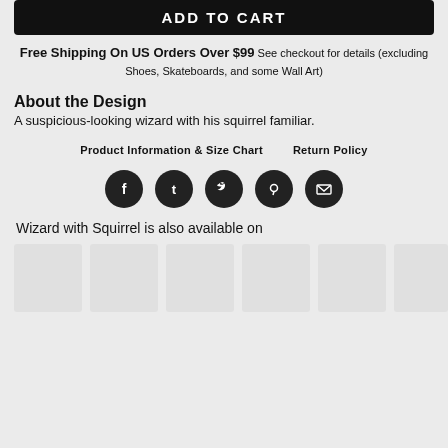ADD TO CART
Free Shipping On US Orders Over $99 See checkout for details (excluding Shoes, Skateboards, and some Wall Art)
About the Design
A suspicious-looking wizard with his squirrel familiar.
Product Information & Size Chart
Return Policy
[Figure (infographic): Row of 5 social media share icons (Facebook, Tumblr, Twitter, Pinterest, Email) as white icons on dark circular backgrounds]
Wizard with Squirrel is also available on
[Figure (photo): Row of 6 product thumbnail images, shown as light grey placeholder boxes]